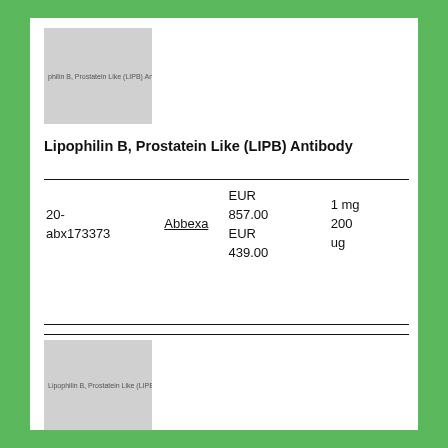[Figure (photo): Product image placeholder for Lipophilin B, Prostatein Like (LIPB) Antibody]
Lipophilin B, Prostatein Like (LIPB) Antibody
|  | Supplier | Price | Size |
| --- | --- | --- | --- |
| 20-abx173373 | Abbexa | EUR 857.00
EUR 439.00 | 1 mg
200 ug |
[Figure (photo): Product image placeholder for Lipophilin B, Prostatein Like (LIPB) ELISA]